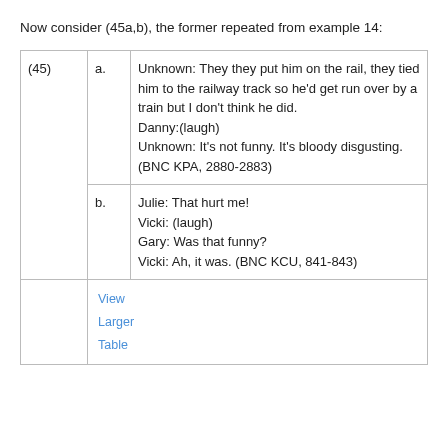Now consider (45a,b), the former repeated from example 14:
| (45) | a. | Unknown: They they put him on the rail, they tied him to the railway track so he'd get run over by a train but I don't think he did.
Danny:(laugh)
Unknown: It's not funny. It's bloody disgusting. (BNC KPA, 2880-2883) |
|  | b. | Julie: That hurt me!
Vicki: (laugh)
Gary: Was that funny?
Vicki: Ah, it was. (BNC KCU, 841-843) |
|  |  | View Larger Table |